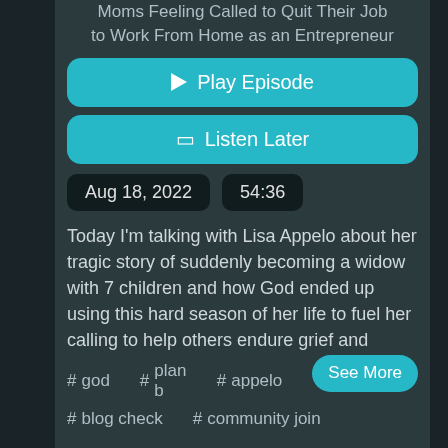Moms Feeling Called to Quit Their Job to Work From Home as an Entrepreneur
▶ Play Episode
🔖 Listen Later
Aug 18, 2022   54:36
Today I'm talking with Lisa Appelo about her tragic story of suddenly becoming a widow with 7 children and how God ended up using this hard season of her life to fuel her calling to help others endure grief and
See More
# god
# plan b
# appelo
# blog check
# community join